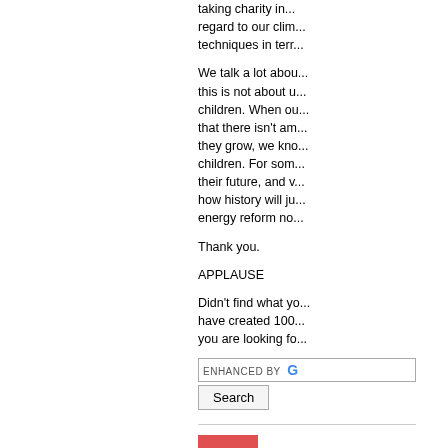taking charity in... regard to our clim... techniques in terr...
We talk a lot abou... this is not about u... children. When ou... that there isn't am... they grow, we kno... children. For som... their future, and v... how history will ju... energy reform no...
Thank you.
APPLAUSE
Didn't find what yo... have created 100... you are looking fo...
[Figure (screenshot): Search box with 'ENHANCED BY Google' placeholder text and a Search button below it]
[Figure (other): Red plus (+) button icon]
Michael R. Meuse... Date Remar...